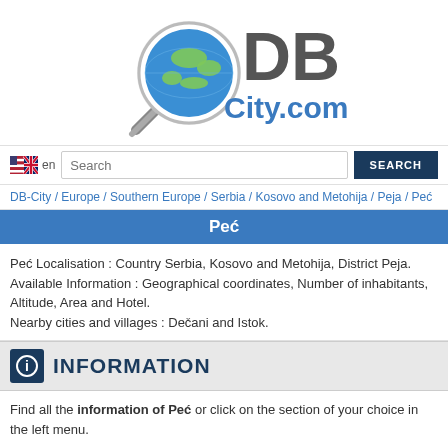[Figure (logo): DBCity.com logo with magnifying glass globe icon and 'DB' in dark gray, 'City.com' in blue]
en  Search  SEARCH
DB-City / Europe / Southern Europe / Serbia / Kosovo and Metohija / Peja / Peć
Peć
Peć Localisation : Country Serbia, Kosovo and Metohija, District Peja.
Available Information : Geographical coordinates, Number of inhabitants, Altitude, Area and Hotel.
Nearby cities and villages : Dečani and Istok.
INFORMATION
Find all the information of Peć or click on the section of your choice in the left menu.
Update data
| Country |  |
| --- | --- |
| Country | Serbia |
|  | Kosovo and Metohija |